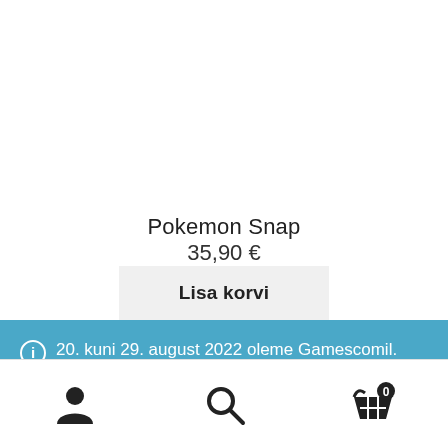Pokemon Snap
35,90 €
Lisa korvi
20. kuni 29. august 2022 oleme Gamescomil. Pakkide saatmist sellel ajal ei toimu. Alates 30. august tavapärane graafik taastub.
Peida